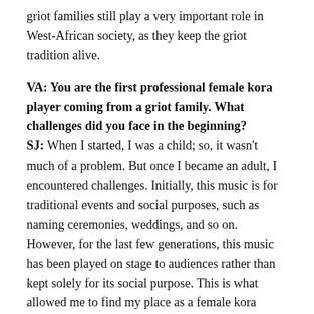griot families still play a very important role in West-African society, as they keep the griot tradition alive.
VA: You are the first professional female kora player coming from a griot family. What challenges did you face in the beginning?
SJ: When I started, I was a child; so, it wasn't much of a problem. But once I became an adult, I encountered challenges. Initially, this music is for traditional events and social purposes, such as naming ceremonies, weddings, and so on. However, for the last few generations, this music has been played on stage to audiences rather than kept solely for its social purpose. This is what allowed me to find my place as a female kora player. If I had played the kora in its traditional cultural